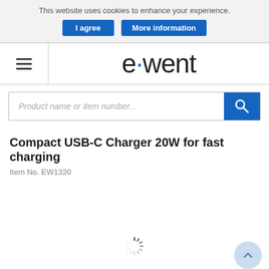This website uses cookies to enhance your experience.
I agree | More information
[Figure (logo): Ewent brand logo with blue dot on letter e]
[Figure (screenshot): Search input field with placeholder 'Product name or item number...' and blue search button]
Compact USB-C Charger 20W for fast charging
Item No. EW1320
[Figure (other): Loading spinner icon indicating content is loading]